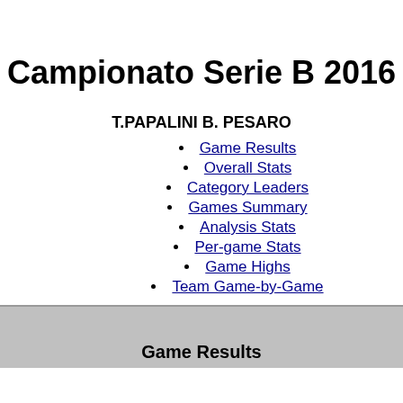Campionato Serie B 2016
T.PAPALINI B. PESARO
Game Results
Overall Stats
Category Leaders
Games Summary
Analysis Stats
Per-game Stats
Game Highs
Team Game-by-Game
Game Results